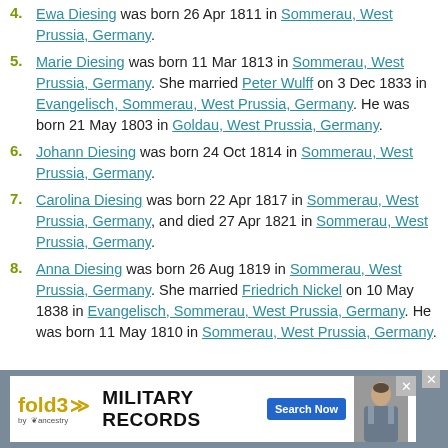4. Ewa Diesing was born 26 Apr 1811 in Sommerau, West Prussia, Germany.
5. Marie Diesing was born 11 Mar 1813 in Sommerau, West Prussia, Germany. She married Peter Wulff on 3 Dec 1833 in Evangelisch, Sommerau, West Prussia, Germany. He was born 21 May 1803 in Goldau, West Prussia, Germany.
6. Johann Diesing was born 24 Oct 1814 in Sommerau, West Prussia, Germany.
7. Carolina Diesing was born 22 Apr 1817 in Sommerau, West Prussia, Germany, and died 27 Apr 1821 in Sommerau, West Prussia, Germany.
8. Anna Diesing was born 26 Aug 1819 in Sommerau, West Prussia, Germany. She married Friedrich Nickel on 10 May 1838 in Evangelisch, Sommerau, West Prussia, Germany. He was born 11 May 1810 in Sommerau, West Prussia, Germany.
[Figure (infographic): Fold3 by Ancestry advertisement banner for Military Records with Search Now button and soldier photo]